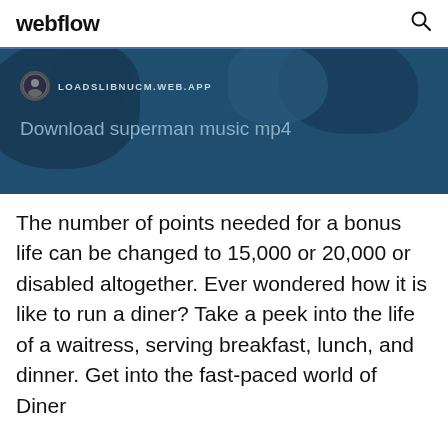webflow
[Figure (screenshot): Dark blue banner with map-like blob shapes in background. Shows avatar icon and URL text 'LOADSLIBNUCM.WEB.APP' and subtitle text 'Download superman music mp4']
The number of points needed for a bonus life can be changed to 15,000 or 20,000 or disabled altogether. Ever wondered how it is like to run a diner? Take a peek into the life of a waitress, serving breakfast, lunch, and dinner. Get into the fast-paced world of Diner